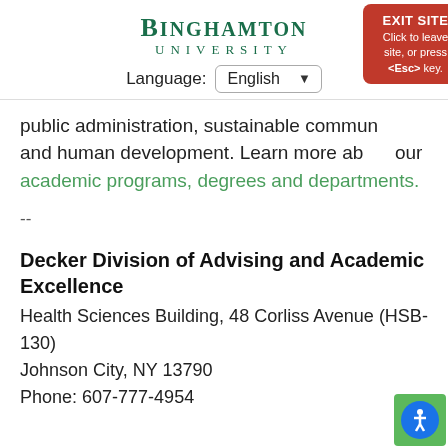BINGHAMTON UNIVERSITY
Language: English
public administration, sustainable communities and human development. Learn more about our academic programs, degrees and departments.
--
Decker Division of Advising and Academic Excellence
Health Sciences Building, 48 Corliss Avenue (HSB-130)
Johnson City, NY 13790
Phone: 607-777-4954